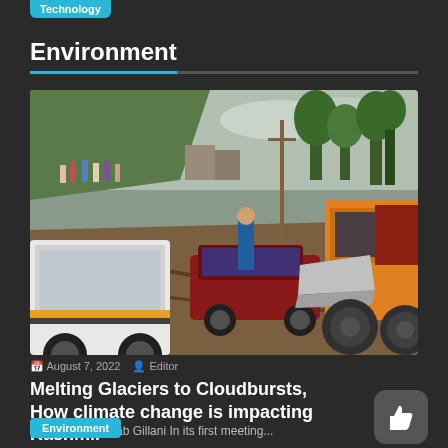Technology
Environment
[Figure (photo): A muddy road scene after flooding/landslide in Kashmir. A yellow JCB bulldozer clears debris. A white SUV and a dark red car are visible. People stand on a hillside watching. Trees and buildings in background.]
August 7, 2022   Editor
Melting Glaciers to Cloudbursts, How climate change is impacting Kashmir
By: Syed Shadaab Gillani In its first meeting...
Environment